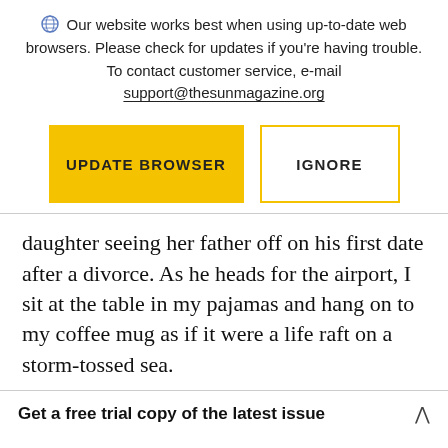Our website works best when using up-to-date web browsers. Please check for updates if you're having trouble. To contact customer service, e-mail support@thesunmagazine.org
[Figure (other): Two buttons: a yellow filled button labeled UPDATE BROWSER and a yellow-outlined button labeled IGNORE]
daughter seeing her father off on his first date after a divorce. As he heads for the airport, I sit at the table in my pajamas and hang on to my coffee mug as if it were a life raft on a storm-tossed sea.
Get a free trial copy of the latest issue